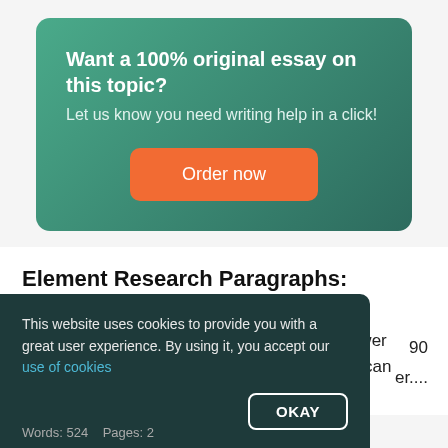Want a 100% original essay on this topic?
Let us know you need writing help in a click!
Order now
Element Research Paragraphs: Hydrogen
Hydrogen is a very clean and easy-to-use power product ,and it is in fact the only element that can exist
90
er....
This website uses cookies to provide you with a great user experience. By using it, you accept our use of cookies
OKAY
Words: 524     Pages: 2